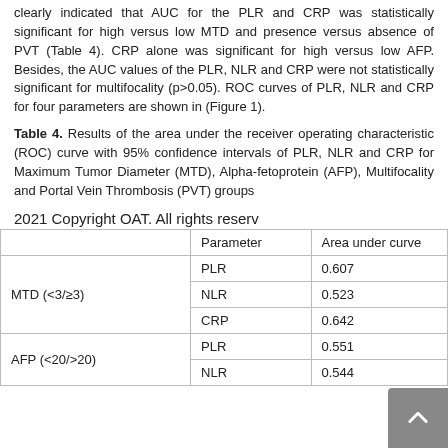clearly indicated that AUC for the PLR and CRP was statistically significant for high versus low MTD and presence versus absence of PVT (Table 4). CRP alone was significant for high versus low AFP. Besides, the AUC values of the PLR, NLR and CRP were not statistically significant for multifocality (p>0.05). ROC curves of PLR, NLR and CRP for four parameters are shown in (Figure 1).
Table 4. Results of the area under the receiver operating characteristic (ROC) curve with 95% confidence intervals of PLR, NLR and CRP for Maximum Tumor Diameter (MTD), Alpha-fetoprotein (AFP), Multifocality and Portal Vein Thrombosis (PVT) groups
2021 Copyright OAT. All rights reserv
|  | Parameter | Area under curve |
| --- | --- | --- |
| MTD (<3/≥3) | PLR | 0.607 |
| MTD (<3/≥3) | NLR | 0.523 |
| MTD (<3/≥3) | CRP | 0.642 |
| AFP (<20/>20) | PLR | 0.551 |
| AFP (<20/>20) | NLR | 0.544 |